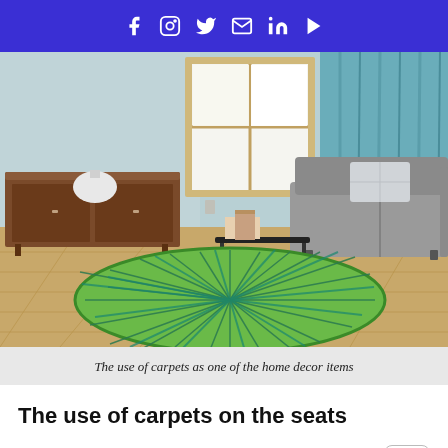Social media icons: Facebook, Instagram, Twitter, Email, LinkedIn, YouTube
[Figure (photo): Interior room photo showing a living room with a round green patterned rug on hardwood floor, grey sofa with pillow, wooden sideboard with white lamp, window with natural light, and teal curtains on the right.]
The use of carpets as one of the home decor items
The use of carpets on the seats